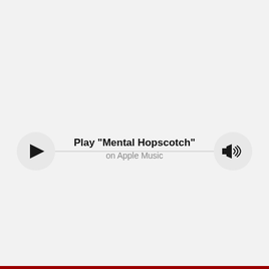[Figure (other): Apple Music audio player widget with a play button on the left, a volume/speaker button on the right, connected by a horizontal line. Center text reads 'Play "Mental Hopscotch"' on Apple Music.]